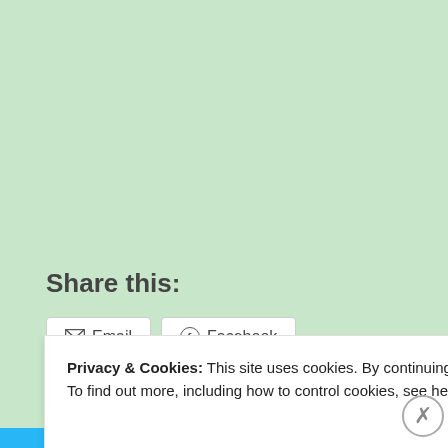[Figure (screenshot): Light green background area representing a webpage background]
Share this:
Email  Facebook (share buttons)
Privacy & Cookies: This site uses cookies. By continuing to use this website, you agree to their use.
To find out more, including how to control cookies, see here: Cookie Policy
Close and accept